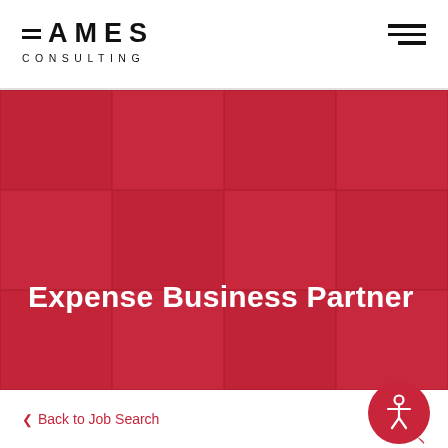[Figure (logo): Eames Consulting logo with horizontal lines before the E and 'CONSULTING' below in spaced letters]
[Figure (other): Hamburger menu icon with three horizontal bars, top two equal width, third shorter]
Expense Business Partner
Back to Job Search